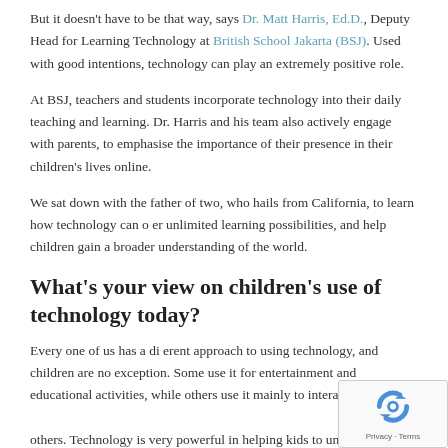But it doesn't have to be that way, says Dr. Matt Harris, Ed.D., Deputy Head for Learning Technology at British School Jakarta (BSJ). Used with good intentions, technology can play an extremely positive role.
At BSJ, teachers and students incorporate technology into their daily teaching and learning. Dr. Harris and his team also actively engage with parents, to emphasise the importance of their presence in their children's lives online.
We sat down with the father of two, who hails from California, to learn how technology can o er unlimited learning possibilities, and help children gain a broader understanding of the world.
What's your view on children's use of technology today?
Every one of us has a di erent approach to using technology, and children are no exception. Some use it for entertainment and educational activities, while others use it mainly to interact with others. Technology is very powerful in helping kids to understand themselves and the world around them. These days, even the ve...